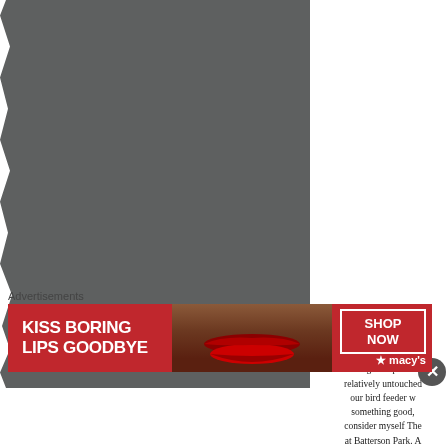[Figure (photo): A large dark gray/charcoal photographic image with a torn or rough left edge, occupying the left portion of the page.]
The abandoned Bat... of forgotten picnic t... relatively untouched... our bird feeder w... something good,... consider myself The... at Batterson Park. A...
[Figure (other): Close button (X) circle overlay]
Advertisements
[Figure (other): Macy's advertisement banner: KISS BORING LIPS GOODBYE with a woman's face showing red lips, SHOP NOW button and macy's star logo]